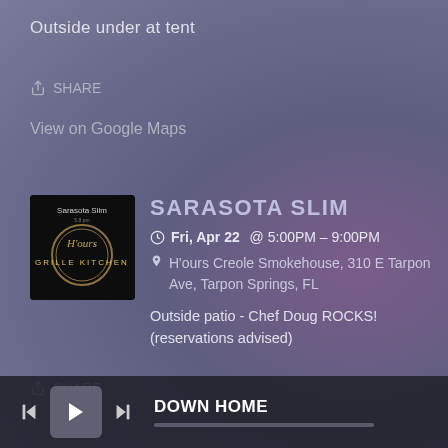Outside under at tent
SHARE
View on Google Maps
SARASOTA SLIM
Fri, Apr 22 @ 5:00PM – 9:00PM
H'ours Creole Smokehouse, 310 E Tarpon Ave, Tarpon Springs, FL
Outside patio - Chef Doug ROCKS! (reservations advised)
SHARE
DOWN HOME